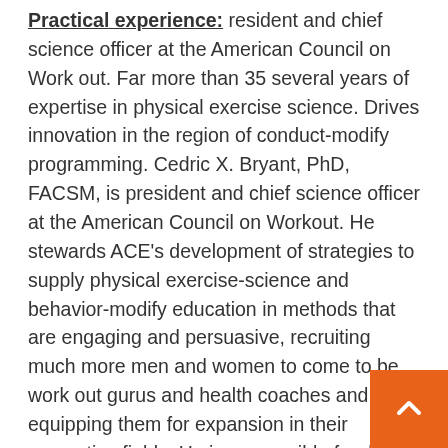Practical experience: resident and chief science officer at the American Council on Work out. Far more than 35 several years of expertise in physical exercise science. Drives innovation in the region of conduct-modify programming. Cedric X. Bryant, PhD, FACSM, is president and chief science officer at the American Council on Workout. He stewards ACE's development of strategies to supply physical exercise-science and behavior-modify education in methods that are engaging and persuasive, recruiting much more men and women to come to be work out gurus and health coaches and equipping them for expansion in their respective fields. He is responsible for driving innovation in the area of conduct-alter programming, overseeing the improvement of systems that ACE-Qualified Industry experts can employ to help people adopt and sustain healthier life.